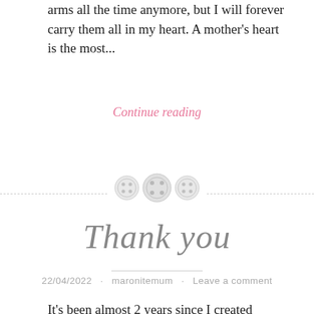arms all the time anymore, but I will forever carry them all in my heart. A mother's heart is the most...
Continue reading
[Figure (illustration): Three decorative button icons arranged horizontally on a dashed divider line]
Thank you
22/04/2022 · maronitemum · Leave a comment
It's been almost 2 years since I created Maronite Mum. When I created it I had a couple of months